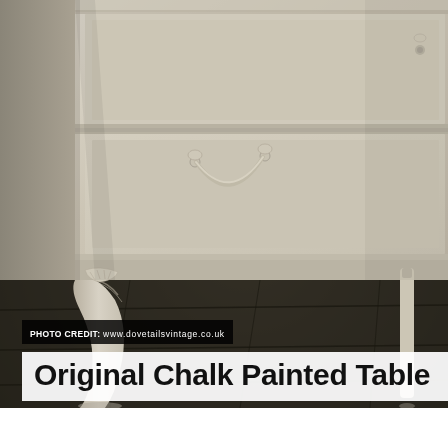[Figure (photo): Close-up photograph of a chalk-painted antique table with ornate cabriole legs and decorative drawer hardware, painted in off-white/pale grey chalk paint, set on a stone floor background.]
PHOTO CREDIT: www.dovetailsvintage.co.uk
Original Chalk Painted Table